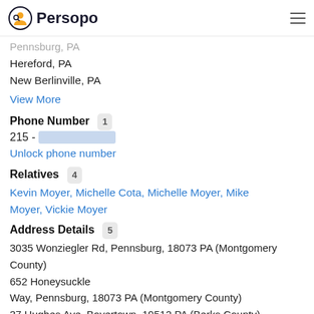Persopo
Pennsburg, PA
Hereford, PA
New Berlinville, PA
View More
Phone Number  1
215 - [redacted]
Unlock phone number
Relatives  4
Kevin Moyer, Michelle Cota, Michelle Moyer, Mike Moyer, Vickie Moyer
Address Details  5
3035 Wonziegler Rd, Pennsburg, 18073 PA (Montgomery County)
652 Honeysuckle Way, Pennsburg, 18073 PA (Montgomery County)
37 Hughes Ave, Boyertown, 19512 PA (Berks County)
Po Box 532, Hereford, 18056 PA (Berks County)